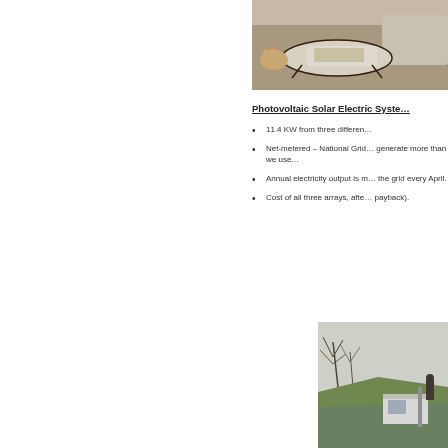[Figure (photo): Indoor photo showing a living room with a coffee table and a cat on the floor, carpet visible]
Photovoltaic Solar Electric Syste…
11.4 KW from three differen…
Net-metered – National Grid… generate more than we use…
Annual electricity output is m… the grid every April.
Cost of all three arrays, afte… payback).
[Figure (photo): Outdoor photo showing a rooftop with solar panels, bare trees in background, green structure visible]